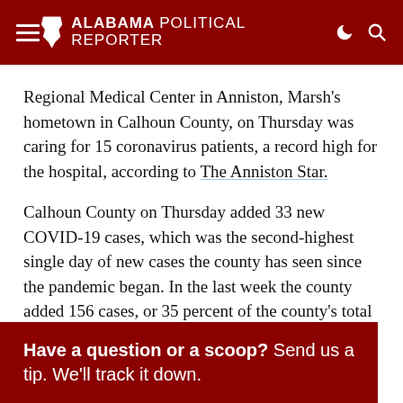Alabama Political Reporter
Regional Medical Center in Anniston, Marsh's hometown in Calhoun County, on Thursday was caring for 15 coronavirus patients, a record high for the hospital, according to The Anniston Star.
Calhoun County on Thursday added 33 new COVID-19 cases, which was the second-highest single day of new cases the county has seen since the pandemic began. In the last week the county added 156 cases, or 35 percent of the county's total coronavirus cases.
Have a question or a scoop? Send us a tip. We'll track it down.